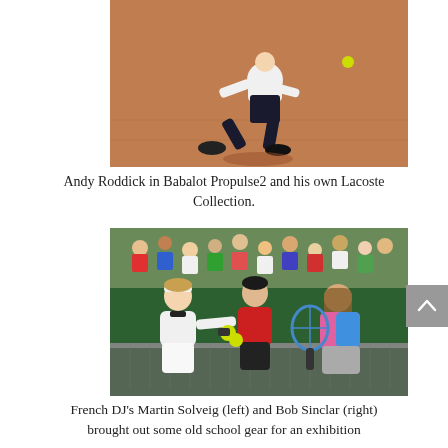[Figure (photo): Andy Roddick playing tennis on a clay court, lunging to hit a shot, wearing white top and dark shorts]
Andy Roddick in Babalot Propulse2 and his own Lacoste Collection.
[Figure (photo): French DJs Martin Solveig (left) and Bob Sinclar (right) at a tennis net with a referee/ball boy in red holding tennis balls, crowd in background]
French DJ's Martin Solveig (left) and Bob Sinclar (right) brought out some old school gear for an exhibition